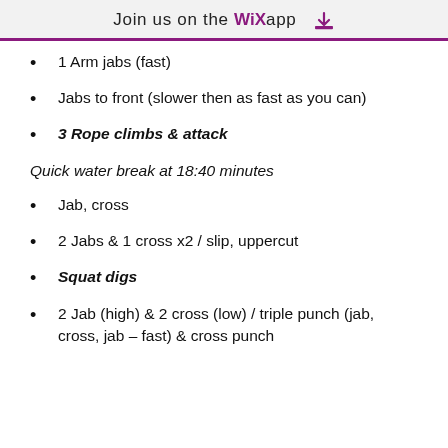Join us on the WiX app
1 Arm jabs (fast)
Jabs to front (slower then as fast as you can)
3 Rope climbs & attack
Quick water break at 18:40 minutes
Jab, cross
2 Jabs & 1 cross x2 / slip, uppercut
Squat digs
2 Jab (high) & 2 cross (low) / triple punch (jab, cross, jab – fast) & cross punch